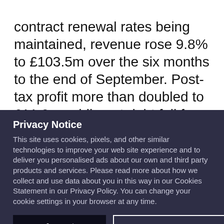contract renewal rates being maintained, revenue rose 9.8% to £103.5m over the six months to the end of September. Post-tax profit more than doubled to £11.8m, while net debt fell from
Privacy Notice
This site uses cookies, pixels, and other similar technologies to improve your web site experience and to deliver you personalised ads about our own and third party products and services. Please read more about how we collect and use data about you in this way in our Cookies Statement in our Privacy Policy. You can change your cookie settings in your browser at any time.